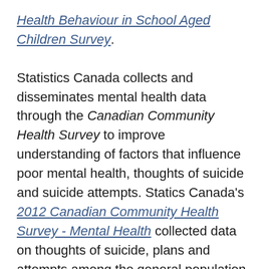Health Behaviour in School Aged Children Survey. Statistics Canada collects and disseminates mental health data through the Canadian Community Health Survey to improve understanding of factors that influence poor mental health, thoughts of suicide and suicide attempts. Statics Canada's 2012 Canadian Community Health Survey - Mental Health collected data on thoughts of suicide, plans and attempts among the general population.
A number of other federal departments that